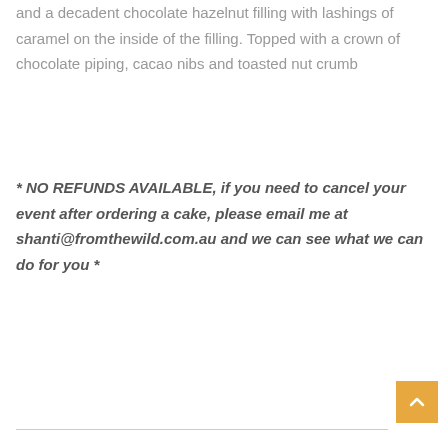and a decadent chocolate hazelnut filling with lashings of caramel on the inside of the filling. Topped with a crown of chocolate piping, cacao nibs and toasted nut crumb
* NO REFUNDS AVAILABLE, if you need to cancel your event after ordering a cake, please email me at shanti@fromthewild.com.au and we can see what we can do for you *